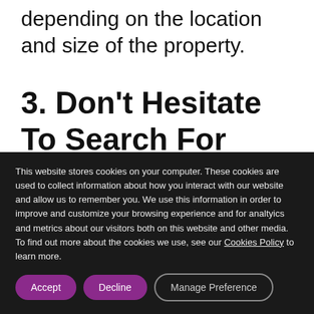depending on the location and size of the property.
3. Don't Hesitate To Search For Better Opportunities In
This website stores cookies on your computer. These cookies are used to collect information about how you interact with our website and allow us to remember you. We use this information in order to improve and customize your browsing experience and for analtyics and metrics about our visitors both on this website and other media. To find out more about the cookies we use, see our Cookies Policy to learn more.